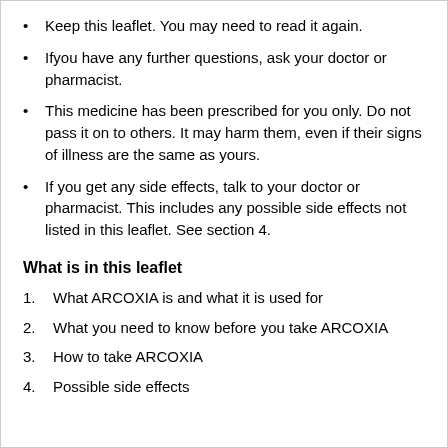Keep this leaflet. You may need to read it again.
Ifyou have any further questions, ask your doctor or pharmacist.
This medicine has been prescribed for you only. Do not pass it on to others. It may harm them, even if their signs of illness are the same as yours.
If you get any side effects, talk to your doctor or pharmacist. This includes any possible side effects not listed in this leaflet. See section 4.
What is in this leaflet
1.    What ARCOXIA is and what it is used for
2.    What you need to know before you take ARCOXIA
3.    How to take ARCOXIA
4.    Possible side effects